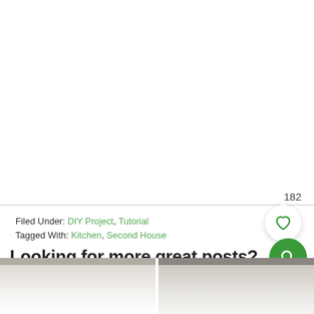182
Filed Under: DIY Project, Tutorial
Tagged With: Kitchen, Second House
Looking for more great posts?
[Figure (photo): Two thumbnail images of kitchen/house project posts at the bottom of the page]